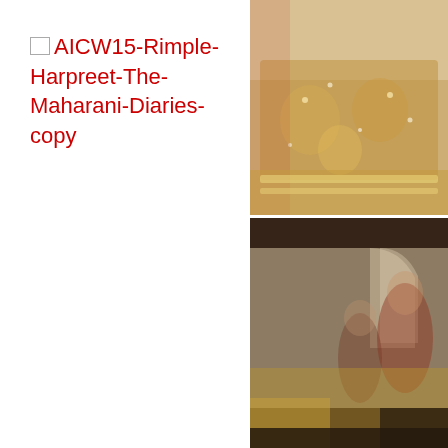[Figure (photo): Broken image placeholder with red alt text reading 'AICW15-Rimple-Harpreet-The-Maharani-Diaries-copy' on white background]
[Figure (photo): Close-up photo of ornate Indian bridal/fashion garment with gold embroidery, sequins and red fabric — top right of page]
[Figure (photo): Blurred photo of what appears to be people in a room with arched decor, gold/red traditional attire — bottom right of page]